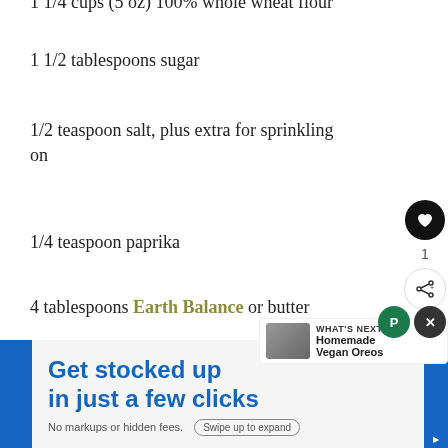1 1/4 cups (5 oz) 100% whole wheat flour
1 1/2 tablespoons sugar
1/2 teaspoon salt, plus extra for sprinkling on
1/4 teaspoon paprika
4 tablespoons Earth Balance or butter
1/4 cup + 2 tbsp water (or a tiny bit more if dough is too dry)
1/4 teaspoon vanilla